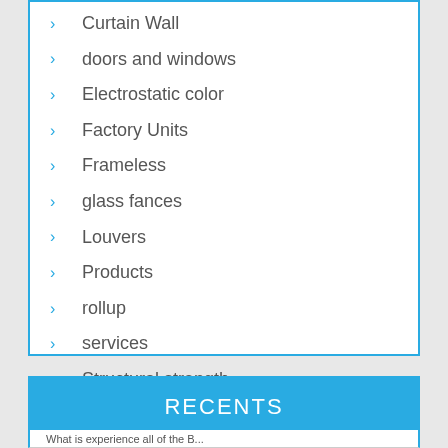Curtain Wall
doors and windows
Electrostatic color
Factory Units
Frameless
glass fances
Louvers
Products
rollup
services
Structural strength
RECENTS